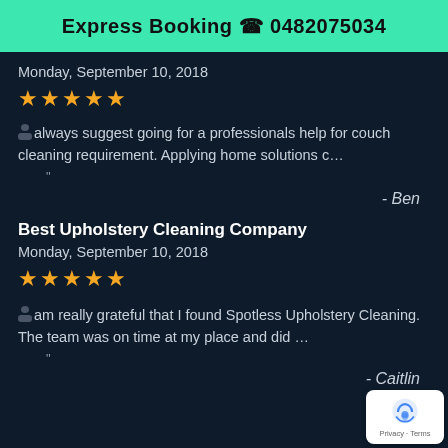Express Booking 📞 0482075034
Monday, September 10, 2018
★★★★★
I always suggest going for a professionals help for couch cleaning requirement. Applying home solutions c…
- Ben
Best Upholstery Cleaning Company
Monday, September 10, 2018
★★★★★
I am really grateful that I found Spotless Upholstery Cleaning. The team was on time at my place and did …
- Caitlin